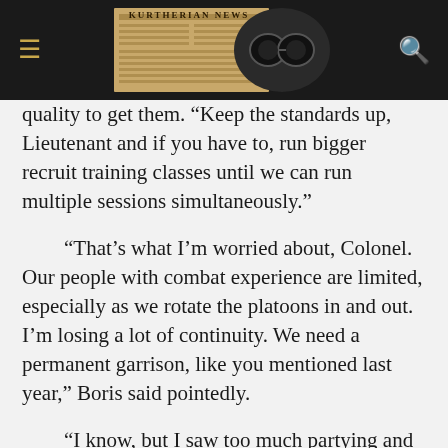KURTHERIAN NEWS
quality to get them. “Keep the standards up, Lieutenant and if you have to, run bigger recruit training classes until we can run multiple sessions simultaneously.”
“That’s what I’m worried about, Colonel. Our people with combat experience are limited, especially as we rotate the platoons in and out. I’m losing a lot of continuity. We need a permanent garrison, like you mentioned last year,” Boris said pointedly.
“I know, but I saw too much partying and not enough FDGing,” Terry replied, looking around to make sure no one was within earshot. “I’ll tell you that it pissed me off. People need to be ready to take on the Forsaken and their minions, whether that